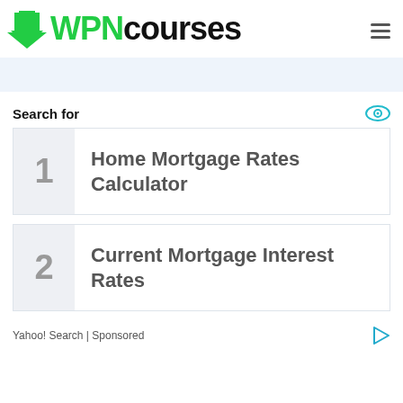[Figure (logo): WPNcourses logo with green download arrow icon and green WPN text followed by black courses text]
1 Home Mortgage Rates Calculator
2 Current Mortgage Interest Rates
Yahoo! Search | Sponsored